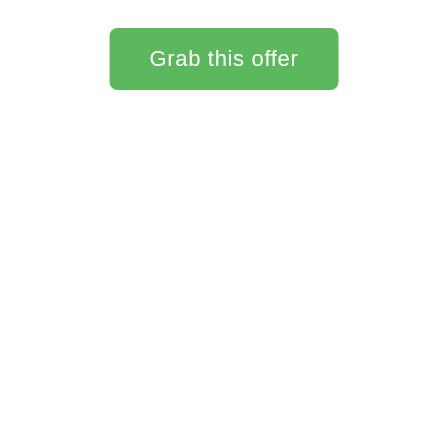[Figure (other): Green rounded rectangle button with white text reading 'Grab this offer']